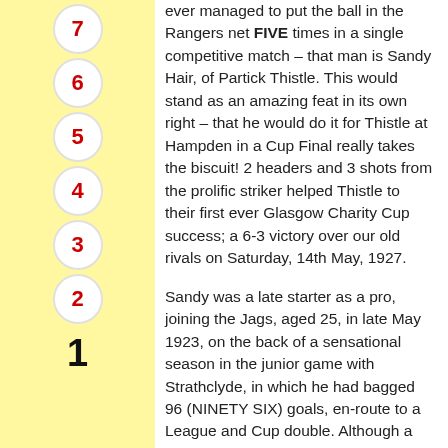7
6
5
4
3
2
1
ever managed to put the ball in the Rangers net FIVE times in a single competitive match – that man is Sandy Hair, of Partick Thistle. This would stand as an amazing feat in its own right – that he would do it for Thistle at Hampden in a Cup Final really takes the biscuit! 2 headers and 3 shots from the prolific striker helped Thistle to their first ever Glasgow Charity Cup success; a 6-3 victory over our old rivals on Saturday, 14th May, 1927.
Sandy was a late starter as a pro, joining the Jags, aged 25, in late May 1923, on the back of a sensational season in the junior game with Strathclyde, in which he had bagged 96 (NINETY SIX) goals, en-route to a League and Cup double. Although a wee guy, he was a good header of the ball and could score with either foot, although his left was especially deadly. He was a constant menace to